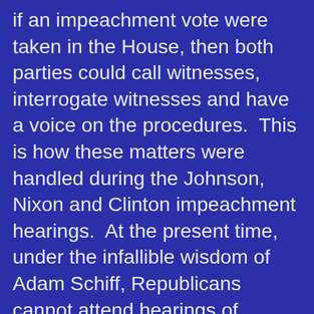if an impeachment vote were taken in the House, then both parties could call witnesses, interrogate witnesses and have a voice on the procedures.  This is how these matters were handled during the Johnson, Nixon and Clinton impeachment hearings.  At the present time, under the infallible wisdom of Adam Schiff, Republicans cannot attend hearings of witnesses, read transcripts and cannot call witnesses.  This is basically a Kangaroo Court. The so called Whistle Blower is in hiding and the Democrats want to hide his identity when he testifies.  Mr. Schiff is calling for administration officials to testify before the committee.

The President has said they cannot.  Since